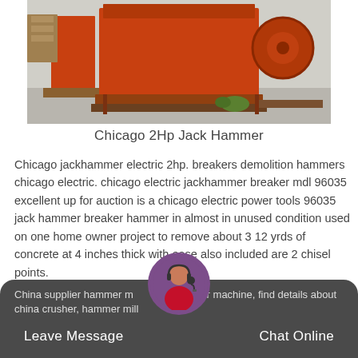[Figure (photo): Photo of an orange industrial jaw crusher / hammer machine on a concrete surface outdoors]
Chicago 2Hp Jack Hammer
Chicago jackhammer electric 2hp. breakers demolition hammers chicago electric. chicago electric jackhammer breaker mdl 96035 excellent up for auction is a chicago electric power tools 96035 jack hammer breaker hammer in almost in unused condition used on one home owner project to remove about 3 12 yrds of concrete at 4 inches thick with ease also included are 2 chisel points.
China Supplier Hammer Mill Crusher Corn Grinder Machine
China supplier hammer mill crusher corn grinder machine, find details about china crusher, hammer mill